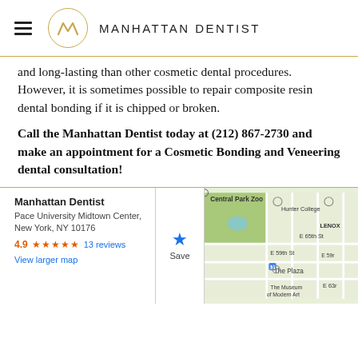MANHATTAN DENTIST
and long-lasting than other cosmetic dental procedures. However, it is sometimes possible to repair composite resin dental bonding if it is chipped or broken.
Call the Manhattan Dentist today at (212) 867-2730 and make an appointment for a Cosmetic Bonding and Veneering dental consultation!
[Figure (map): Google Maps embed showing Manhattan Dentist location near Central Park Zoo, Hunter College, The Plaza, and The Museum of Modern Art. Info panel shows: Manhattan Dentist, Pace University Midtown Center, New York, NY 10176, 4.9 stars, 13 reviews, View larger map.]